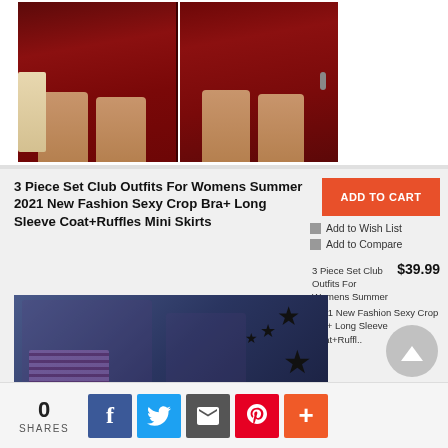[Figure (photo): Two views of a woman wearing a dark burgundy/velvet crop top and mini skirt outfit, shown from waist down]
3 Piece Set Club Outfits For Womens Summer 2021 New Fashion Sexy Crop Bra+ Long Sleeve Coat+Ruffles Mini Skirts
ADD TO CART
Add to Wish List
Add to Compare
3 Piece Set Club Outfits For Womens Summer 2021 New Fashion Sexy Crop Bra+ Long Sleeve Coat+Ruffil.. $39.99
[Figure (photo): Two views of a blonde woman wearing a purple striped crop bra and long sleeve coat set with star decorations in the background]
0 SHARES
Social share buttons: Facebook, Twitter, Email, Pinterest, More